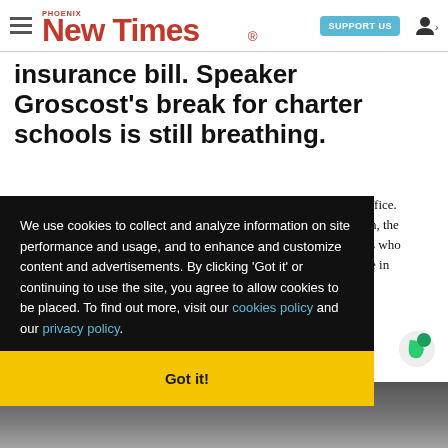Phoenix New Times — SUPPORT US — user icon
insurance bill. Speaker Groscost's break for charter schools is still breathing.
ffice. n, the s who e in
We use cookies to collect and analyze information on site performance and usage, and to enhance and customize content and advertisements. By clicking 'Got it' or continuing to use the site, you agree to allow cookies to be placed. To find out more, visit our cookies policy and our privacy policy.
Got it!